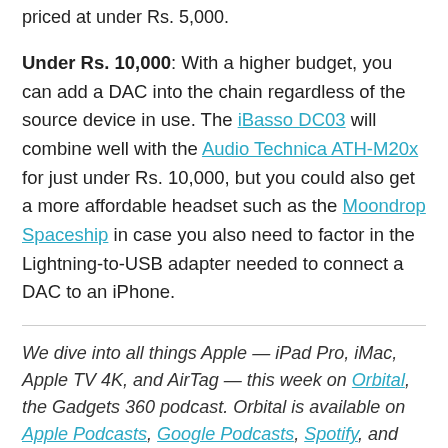priced at under Rs. 5,000.
Under Rs. 10,000: With a higher budget, you can add a DAC into the chain regardless of the source device in use. The iBasso DC03 will combine well with the Audio Technica ATH-M20x for just under Rs. 10,000, but you could also get a more affordable headset such as the Moondrop Spaceship in case you also need to factor in the Lightning-to-USB adapter needed to connect a DAC to an iPhone.
We dive into all things Apple — iPad Pro, iMac, Apple TV 4K, and AirTag — this week on Orbital, the Gadgets 360 podcast. Orbital is available on Apple Podcasts, Google Podcasts, Spotify, and wherever you get your podcasts. Affiliate links may be automatically generated – see our ethics statement for details.